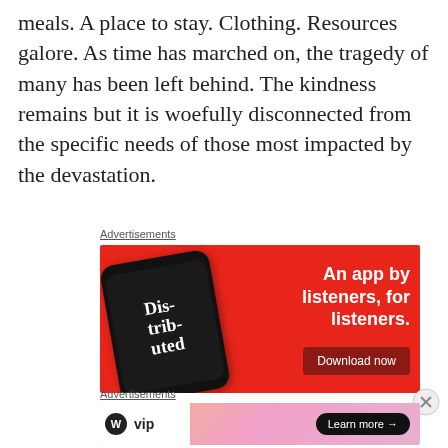meals. A place to stay. Clothing. Resources galore. As time has marched on, the tragedy of many has been left behind. The kindness remains but it is woefully disconnected from the specific needs of those most impacted by the devastation.
Advertisements
[Figure (other): Red advertisement banner for 'Distributed' podcast app showing a smartphone with the app open, text reads 'An app by listeners, for listeners.' with a 'Download now' button]
Advertisements
[Figure (other): WordPress VIP advertisement banner with peach/orange gradient background, WordPress VIP logo on left, 'Learn more →' button on right]